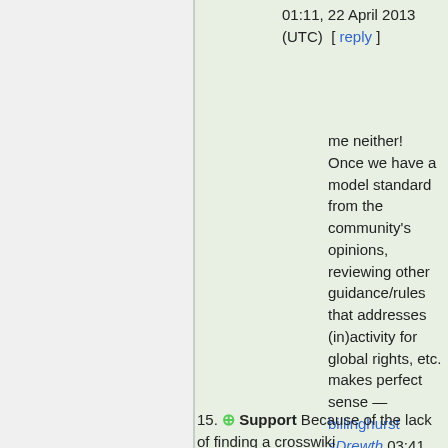01:11, 22 April 2013 (UTC)  [ reply ]
me neither! Once we have a model standard from the community's opinions, reviewing other guidance/rules that addresses (in)activity for global rights, etc. makes perfect sense — billinghurst sDrewth 03:41, 22 April 2013 (UTC) [ reply ]
15. Support Because of the lack of finding a crosswiki